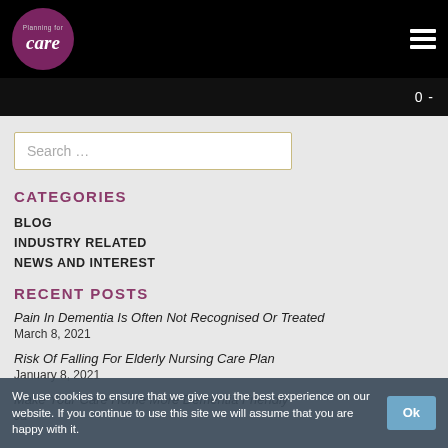[Figure (logo): Planning for Care circular logo with dark purple background and white text]
0 -
Search ...
CATEGORIES
BLOG
INDUSTRY RELATED
NEWS AND INTEREST
RECENT POSTS
Pain In Dementia Is Often Not Recognised Or Treated
March 8, 2021
Risk Of Falling For Elderly Nursing Care Plan
January 8, 2021
Make Your Care Home More Dementia Friendly
January ...
We use cookies to ensure that we give you the best experience on our website. If you continue to use this site we will assume that you are happy with it.